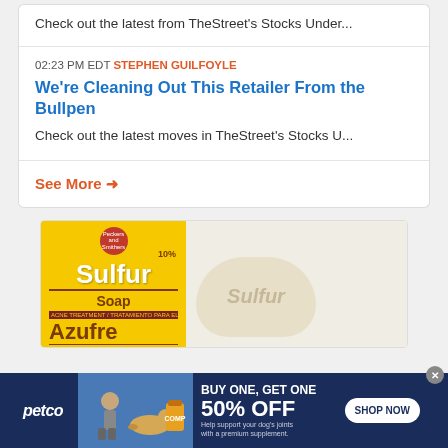Check out the latest from TheStreet's Stocks Under...
02:23 PM EDT STEPHEN GUILFOYLE
We're Cleaning Out This Retailer From the Bullpen
Check out the latest moves in TheStreet's Stocks U...
See More →
[Figure (photo): Advertisement showing Sulfur Soap / Azufre Jabon product packaging in yellow with a soap bar]
[Figure (photo): Petco advertisement: BUY ONE, GET ONE 50% OFF - Help support your dog's joints with a premium supplement. SHOP NOW button. Shows woman with dog and supplement product.]